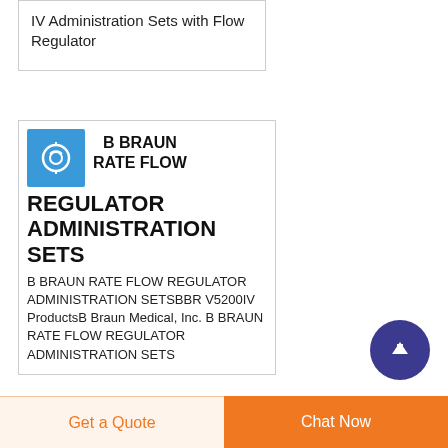IV Administration Sets with Flow Regulator
B BRAUN RATE FLOW REGULATOR ADMINISTRATION SETS
B BRAUN RATE FLOW REGULATOR ADMINISTRATION SETSBBR V5200IV ProductsB Braun Medical, Inc. B BRAUN RATE FLOW REGULATOR ADMINISTRATION SETS
[Figure (illustration): Blue square thumbnail image of IV administration set product]
Get a Quote
Chat Now